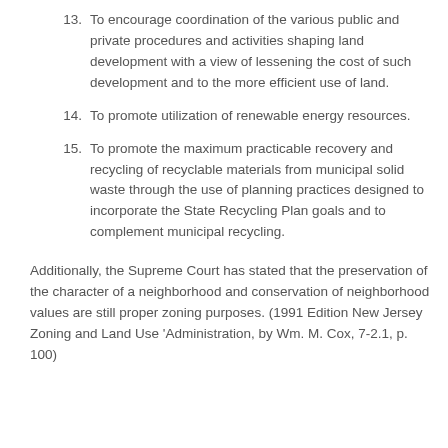13. To encourage coordination of the various public and private procedures and activities shaping land development with a view of lessening the cost of such development and to the more efficient use of land.
14. To promote utilization of renewable energy resources.
15. To promote the maximum practicable recovery and recycling of recyclable materials from municipal solid waste through the use of planning practices designed to incorporate the State Recycling Plan goals and to complement municipal recycling.
Additionally, the Supreme Court has stated that the preservation of the character of a neighborhood and conservation of neighborhood values are still proper zoning purposes. (1991 Edition New Jersey Zoning and Land Use 'Administration, by Wm. M. Cox, 7-2.1, p. 100)